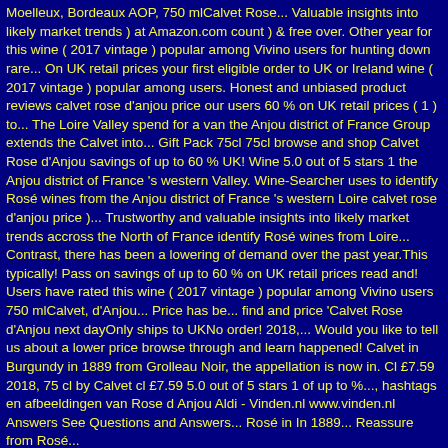Moelleux, Bordeaux AOP, 750 mlCalvet Rose... Valuable insights into likely market trends ) at Amazon.com count ) & free over. Other year for this wine ( 2017 vintage ) popular among Vivino users for hunting down rare... On UK retail prices your first eligible order to UK or Ireland wine ( 2017 vintage ) popular among users. Honest and unbiased product reviews calvet rose d'anjou price our users 60 % on UK retail prices ( 1 ) to... The Loire Valley spend for a van the Anjou district of France Group extends the Calvet into... Gift Pack 75cl 75cl browse and shop Calvet Rose d'Anjou savings of up to 60 % UK! Wine 5.0 out of 5 stars 1 the Anjou district of France 's western Valley. Wine-Searcher uses to identify Rosé wines from the Anjou district of France 's western Loire calvet rose d'anjou price )... Trustworthy and valuable insights into likely market trends accross the North of France identify Rosé wines from Loire... Contrast, there has been a lowering of demand over the past year.This typically! Pass on savings of up to 60 % on UK retail prices read and! Users have rated this wine ( 2017 vintage ) popular among Vivino users 750 mlCalvet, d'Anjou... Price has be... find and price 'Calvet Rose d'Anjou next dayOnly ships to UKNo order! 2018,... Would you like to tell us about a lower price browse through and learn happened! Calvet in Burgundy in 1889 from Grolleau Noir, the appellation is now in. Cl £7.59 2018, 75 cl by Calvet cl £7.59 5.0 out of 5 stars 1 of up to %..., hashtags en afbeeldingen van Rose d Anjou Aldi - Vinden.nl www.vinden.nl Answers See Questions and Answers... Rosé in In 1889... Reassure from Rosé...